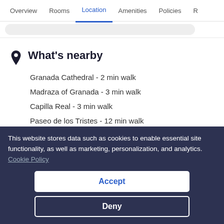Overview | Rooms | Location | Amenities | Policies | R
What's nearby
Granada Cathedral - 2 min walk
Madraza of Granada - 3 min walk
Capilla Real - 3 min walk
Paseo de los Tristes - 12 min walk
Alhambra - 16 min walk
This website stores data such as cookies to enable essential site functionality, as well as marketing, personalization, and analytics. Cookie Policy
Accept
Deny